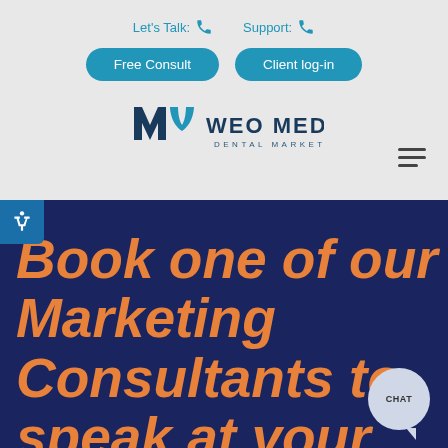Let's Talk: [phone icon]  Support: [phone icon]
Free Consult
Client log-in
[Figure (logo): WEO MEDIA DENTAL MARKETING logo with stylized 'wm' icon in blue]
[Figure (other): Hamburger menu icon (three horizontal lines)]
[Figure (other): Accessibility icon (wheelchair symbol) in blue circle]
Book one of our Marketing Consultants to speak at your
[Figure (other): Chat bubble button with text CHAT]